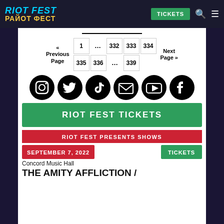RIOT FEST / РАЙОТ ФЕСТ
[Figure (other): Pagination navigation with Previous Page, page numbers 1, ..., 332, 333, 334, 335, 336, ..., 339, and Next Page]
[Figure (other): Row of 6 social media icons: Instagram, Twitter, TikTok, Email, YouTube, Facebook (black circles)]
RIOT FEST TICKETS
RIOT FEST PRESENTS SHOWS
SEPTEMBER 7, 2022
TICKETS
Concord Music Hall
THE AMITY AFFLICTION /